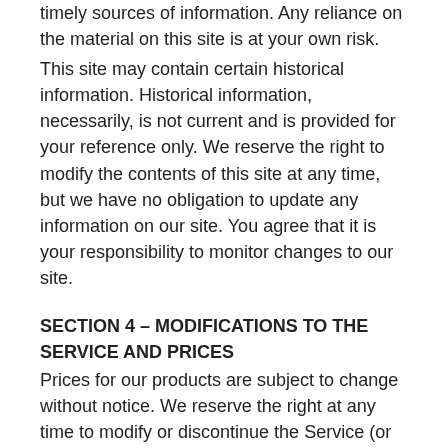timely sources of information. Any reliance on the material on this site is at your own risk.
This site may contain certain historical information. Historical information, necessarily, is not current and is provided for your reference only. We reserve the right to modify the contents of this site at any time, but we have no obligation to update any information on our site. You agree that it is your responsibility to monitor changes to our site.
SECTION 4 – MODIFICATIONS TO THE SERVICE AND PRICES
Prices for our products are subject to change without notice. We reserve the right at any time to modify or discontinue the Service (or any part or content thereof) without notice at any time.
We shall not be liable to you or to any third-party for any modification, price change, suspension or discontinuance of the Service.
SECTION 5 – PRODUCTS OR SERVICES (if applicable)
Certain products or services may be available exclusively online through the website. These products or services may have